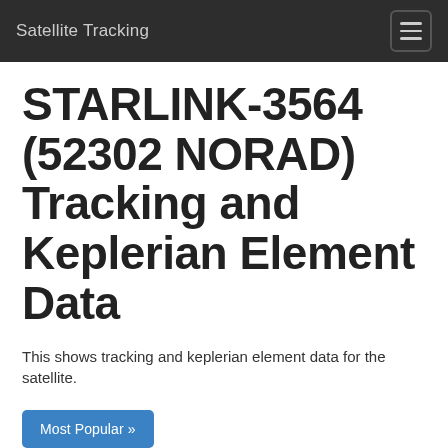Satellite Tracking
STARLINK-3564 (52302 NORAD) Tracking and Keplerian Element Data
This shows tracking and keplerian element data for the satellite.
Most Popular »
Categories »
Download free tracking app »